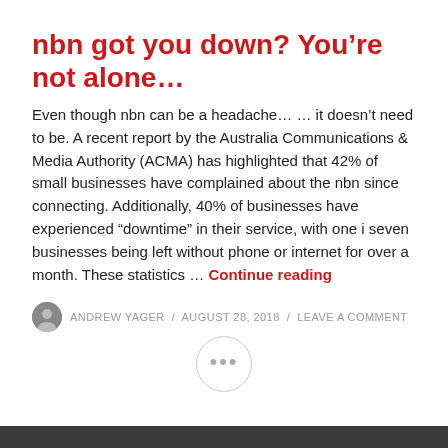nbn got you down? You’re not alone…
Even though nbn can be a headache… … it doesn’t need to be. A recent report by the Australia Communications & Media Authority (ACMA) has highlighted that 42% of small businesses have complained about the nbn since connecting. Additionally, 40% of businesses have experienced “downtime” in their service, with one i seven businesses being left without phone or internet for over a month. These statistics …
Continue reading
ANDREW YAGER / AUGUST 28, 2018 / LEAVE A COMMENT